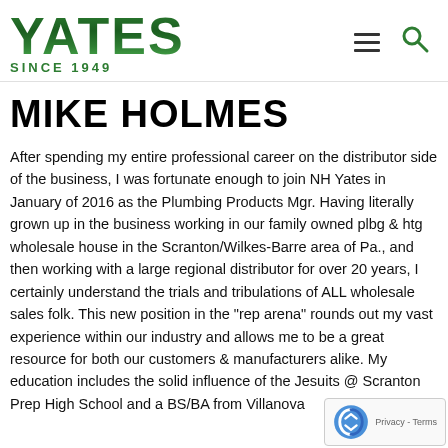YATES SINCE 1949
MIKE HOLMES
After spending my entire professional career on the distributor side of the business, I was fortunate enough to join NH Yates in January of 2016 as the Plumbing Products Mgr. Having literally grown up in the business working in our family owned plbg & htg wholesale house in the Scranton/Wilkes-Barre area of Pa., and then working with a large regional distributor for over 20 years, I certainly understand the trials and tribulations of ALL wholesale sales folk. This new position in the "rep arena" rounds out my vast experience within our industry and allows me to be a great resource for both our customers & manufacturers alike. My education includes the solid influence of the Jesuits @ Scranton Prep High School and a BS/BA from Villanova